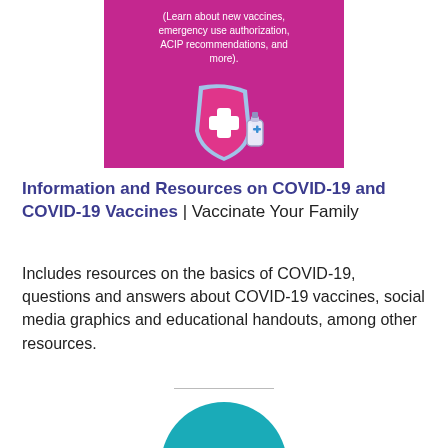[Figure (illustration): Purple/magenta banner with white text about COVID-19 vaccines (learn about new vaccines, emergency use authorization, ACIP recommendations, and more) and a shield with a cross and vaccine vial icon below the text.]
Information and Resources on COVID-19 and COVID-19 Vaccines | Vaccinate Your Family
Includes resources on the basics of COVID-19, questions and answers about COVID-19 vaccines, social media graphics and educational handouts, among other resources.
[Figure (logo): Partial teal circle with white text beginning 'made' at the bottom of the page — appears to be a logo cropped at the bottom.]